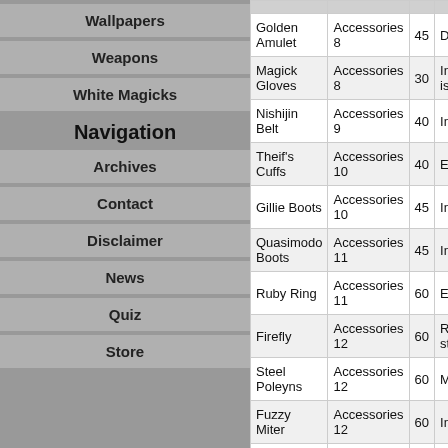Wallpapers
Weapons
White Magicks
Navigation
Archives
Contact
Disclaimer
News
Quiz
Store
| Name | Category | Cost | Effect |
| --- | --- | --- | --- |
| Golden Amulet | Accessories 8 | 45 | Doub... |
| Magick Gloves | Accessories 8 | 30 | Incre... is full... |
| Nishijin Belt | Accessories 9 | 40 | Immu... |
| Theif's Cuffs | Accessories 10 | 40 | Enab... |
| Gillie Boots | Accessories 10 | 45 | Immu... |
| Quasimodo Boots | Accessories 11 | 45 | Immu... |
| Ruby Ring | Accessories 11 | 60 | Equip... |
| Firefly | Accessories 12 | 60 | Redu... stren... |
| Steel Poleyns | Accessories 12 | 60 | Move... |
| Fuzzy Miter | Accessories 12 | 60 | Immu... |
| Bowline Sash | Accessories 13 | 60 | Immu... |
| Winged Boots | Accessories 13 | 60 | Equip... |
| Pheasent Natur... | Accessories 1... | 70 | Impro... |